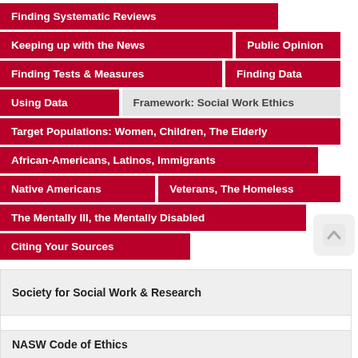Finding Systematic Reviews
Keeping up with the News
Public Opinion
Finding Tests & Measures
Finding Data
Using Data
Framework: Social Work Ethics
Target Populations: Women, Children, The Elderly
African-Americans, Latinos, Immigrants
Native Americans
Veterans, The Homeless
The Mentally Ill, the Mentally Disabled
Citing Your Sources
Society for Social Work & Research
SSWR: Society for Social Work & Research
NASW Code of Ethics